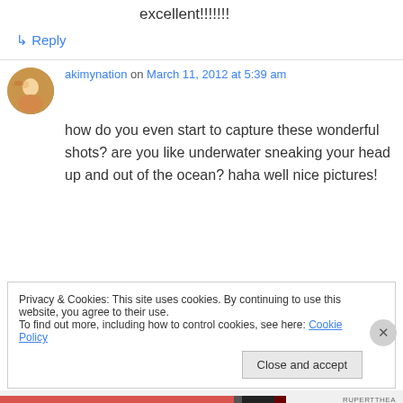excellent!!!!!!!
↳ Reply
akimynation on March 11, 2012 at 5:39 am
how do you even start to capture these wonderful shots? are you like underwater sneaking your head up and out of the ocean? haha well nice pictures!
Privacy & Cookies: This site uses cookies. By continuing to use this website, you agree to their use.
To find out more, including how to control cookies, see here: Cookie Policy